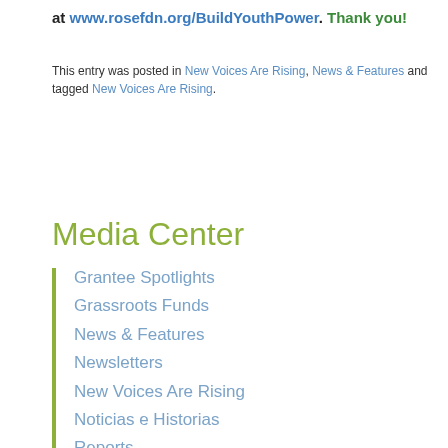at www.rosefdn.org/BuildYouthPower. Thank you!
This entry was posted in New Voices Are Rising, News & Features and tagged New Voices Are Rising.
Media Center
Grantee Spotlights
Grassroots Funds
News & Features
Newsletters
New Voices Are Rising
Noticias e Historias
Reports